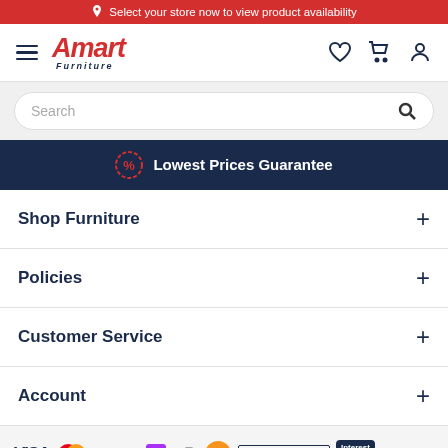Select your store now to view product availability
[Figure (logo): Amart Furniture logo with hamburger menu and nav icons (heart, cart, user)]
Search
Lowest Prices Guarantee
Shop Furniture
Policies
Customer Service
Account
[Figure (infographic): Payment method logos: VISA, Mastercard, PayPal, Zip, Afterpay, Humm, Latitude, Interest Free badge, Latitude Pay]
© 2022 Amart Furniture | All Rights Reserved